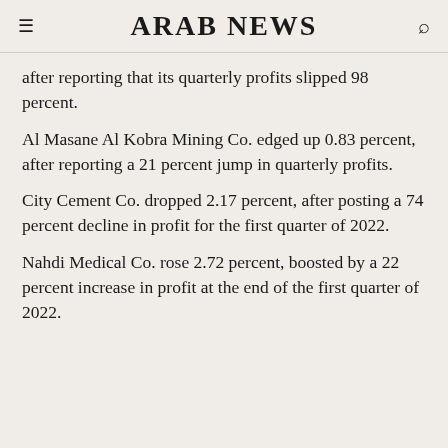ARAB NEWS
after reporting that its quarterly profits slipped 98 percent.
Al Masane Al Kobra Mining Co. edged up 0.83 percent, after reporting a 21 percent jump in quarterly profits.
City Cement Co. dropped 2.17 percent, after posting a 74 percent decline in profit for the first quarter of 2022.
Nahdi Medical Co. rose 2.72 percent, boosted by a 22 percent increase in profit at the end of the first quarter of 2022.